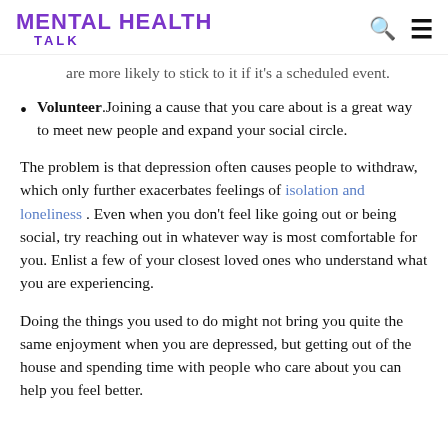MENTAL HEALTH TALK
schedule that includes spending time with others. You are more likely to stick to it if it's a scheduled event.
Volunteer. Joining a cause that you care about is a great way to meet new people and expand your social circle.
The problem is that depression often causes people to withdraw, which only further exacerbates feelings of isolation and loneliness. Even when you don't feel like going out or being social, try reaching out in whatever way is most comfortable for you. Enlist a few of your closest loved ones who understand what you are experiencing.
Doing the things you used to do might not bring you quite the same enjoyment when you are depressed, but getting out of the house and spending time with people who care about you can help you feel better.